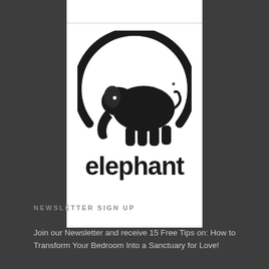[Figure (logo): Elephant logo: black silhouette of an elephant with an asterisk near its tail, inside a partial black circle arc, with the word 'elephant' in bold stylized lowercase text beneath, on a white background]
[Figure (other): Horizontal decorative divider line with a small circle in the center]
NEWSLETTER SIGN UP
Join our Newsletter and receive 15 Free Tips on: How to Transform Your Bedroom Into a Sanctuary for Love!